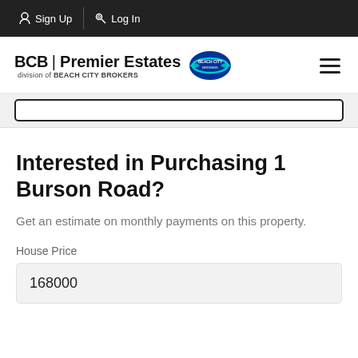Sign Up  Log In
[Figure (logo): BCB | Premier Estates logo with Beach City Brokers badge and hamburger menu icon]
Interested in Purchasing 1 Burson Road?
Get an estimate on monthly payments on this property.
House Price
168000